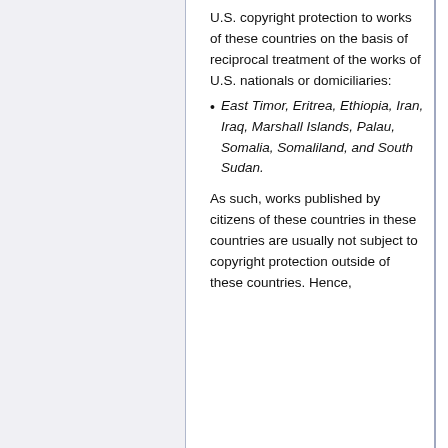U.S. copyright protection to works of these countries on the basis of reciprocal treatment of the works of U.S. nationals or domiciliaries:
East Timor, Eritrea, Ethiopia, Iran, Iraq, Marshall Islands, Palau, Somalia, Somaliland, and South Sudan.
As such, works published by citizens of these countries in these countries are usually not subject to copyright protection outside of these countries. Hence,